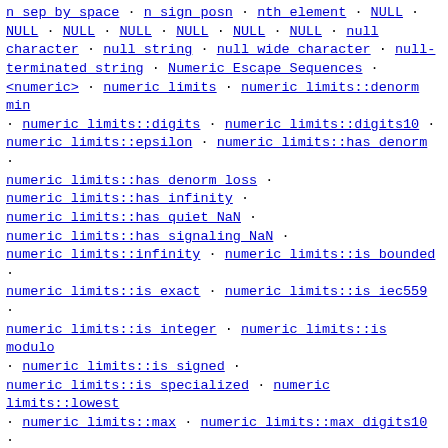n sep by space · n sign posn · nth element · NULL · NULL · NULL · NULL · NULL · NULL · NULL · NULL · null character · null string · null wide character · null-terminated string · Numeric Escape Sequences · <numeric> · numeric limits · numeric limits::denorm min · numeric limits::digits · numeric limits::digits10 · numeric limits::epsilon · numeric limits::has denorm · numeric limits::has denorm loss · numeric limits::has infinity · numeric limits::has quiet NaN · numeric limits::has signaling NaN · numeric limits::infinity · numeric limits::is bounded · numeric limits::is exact · numeric limits::is iec559 · numeric limits::is integer · numeric limits::is modulo · numeric limits::is signed · numeric limits::is specialized · numeric limits::lowest · numeric limits::max · numeric limits::max digits10 · numeric limits::max exponent · numeric limits::max exponent10 · numeric limits::min · numeric limits::min exponent · numeric limits::min exponent10 · numeric limits::quiet NaN · numeric limits::radix · numeric limits::round error · numeric limits::round style · numeric limits::signaling NaN · numeric limits::tinyness before · numeric limits::traps · num get · num get::char type · num get::do get · num get::get · num get::id · num get::iter type · num get::num get · numpunct · numpunct byname · numpunct::char type · numpunct::decimal point